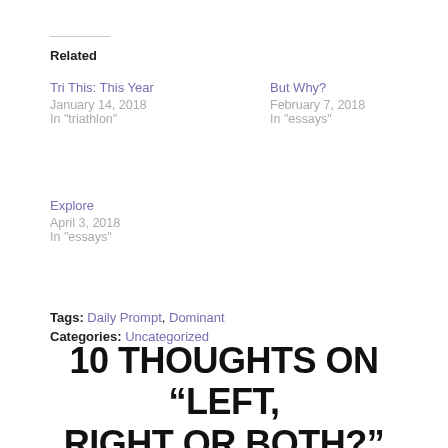Related
Tri This: This Year
January 14, 2018
In "triathlon"
But Why?
February 7, 2018
In "essays"
Explore
April 3, 2018
In "essays"
Tags: Daily Prompt, Dominant
Categories: Uncategorized
10 THOUGHTS ON “LEFT, RIGHT OR BOTH?”